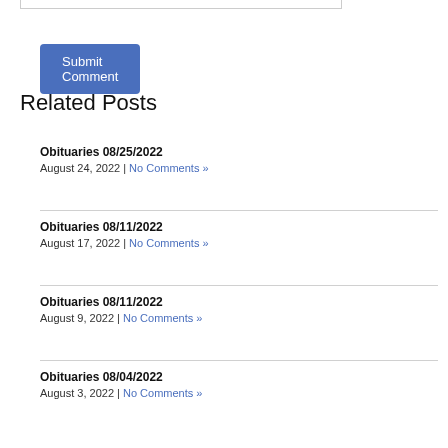[Figure (other): Partial text input box visible at top of page]
Submit Comment
Related Posts
Obituaries 08/25/2022
August 24, 2022 | No Comments »
Obituaries 08/11/2022
August 17, 2022 | No Comments »
Obituaries 08/11/2022
August 9, 2022 | No Comments »
Obituaries 08/04/2022
August 3, 2022 | No Comments »